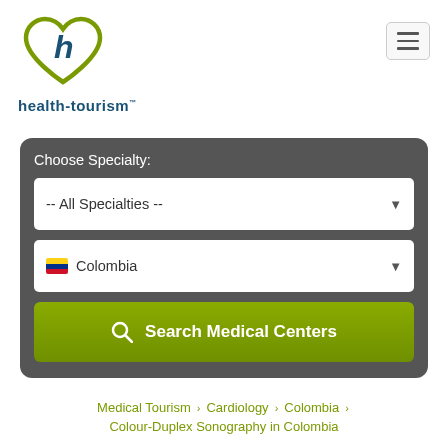[Figure (logo): health-tourism.com logo with heart shape containing letter h in teal/green colors, with text 'health-tourism' below in dark teal]
[Figure (other): Hamburger menu button with three horizontal bars]
Choose Specialty:
-- All Specialties --
Colombia
Search Medical Centers
Medical Tourism > Cardiology > Colombia
Colour-Duplex Sonography in Colombia